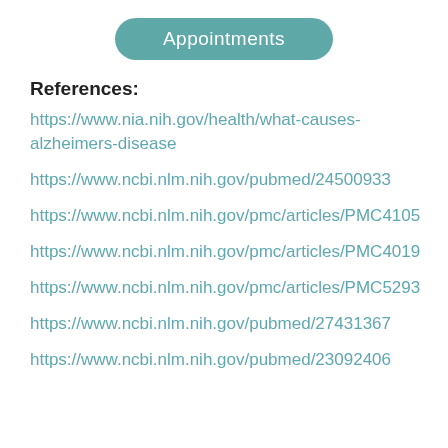[Figure (other): Teal rounded pill button labeled 'Appointments']
References:
https://www.nia.nih.gov/health/what-causes-alzheimers-disease
https://www.ncbi.nlm.nih.gov/pubmed/24500933
https://www.ncbi.nlm.nih.gov/pmc/articles/PMC4105
https://www.ncbi.nlm.nih.gov/pmc/articles/PMC4019
https://www.ncbi.nlm.nih.gov/pmc/articles/PMC5293
https://www.ncbi.nlm.nih.gov/pubmed/27431367
https://www.ncbi.nlm.nih.gov/pubmed/23092406